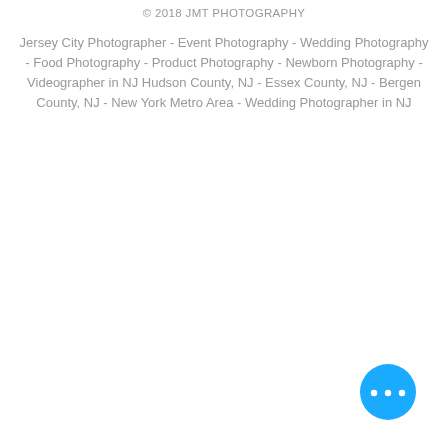© 2018 JMT PHOTOGRAPHY
Jersey City Photographer - Event Photography - Wedding Photography - Food Photography - Product Photography - Newborn Photography - Videographer in NJ Hudson County, NJ - Essex County, NJ - Bergen County, NJ - New York Metro Area - Wedding Photographer in NJ
[Figure (other): Blue circular chat/more options button with three white dots]